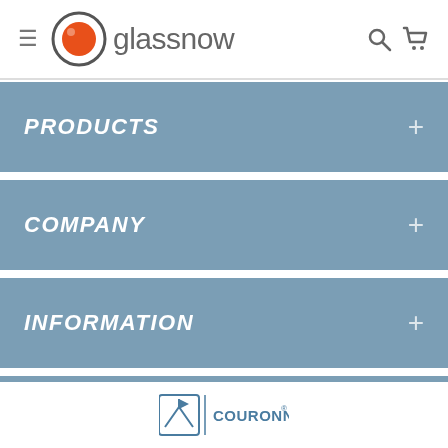[Figure (logo): glassnow logo with orange circle icon and hamburger menu, search and cart icons]
PRODUCTS +
COMPANY +
INFORMATION +
ORDERS +
[Figure (logo): Couronne Co logo at bottom center]